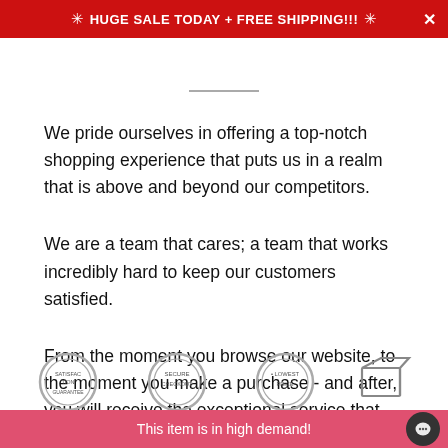HUGE SALE TODAY + FREE SHIPPING!!!
[Figure (other): Partially visible large bold website heading text, cropped at top, with a horizontal rule below]
We pride ourselves in offering a top-notch shopping experience that puts us in a realm that is above and beyond our competitors.
We are a team that cares; a team that works incredibly hard to keep our customers satisfied.
From the moment you browse our website, to the moment you make a purchase - and after, you will receive the exceptional service that you deserve.
[Figure (illustration): Row of partially visible badge/seal icons: Satisfaction, Secure, Lowest (price), and a box/shipping icon]
This item is in high demand!